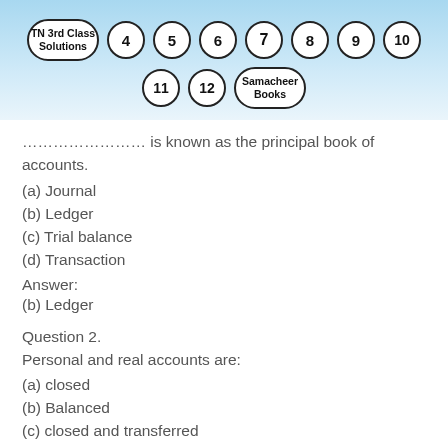[Figure (infographic): Header banner with navigation circles: TN 3rd Class Solutions (wide oval), and numbered circles 4,5,6,7,8,9,10 in row 1; circles 11, 12, and Samacheer Books (wide oval) in row 2]
…………………… is known as the principal book of accounts.
(a) Journal
(b) Ledger
(c) Trial balance
(d) Transaction
Answer:
(b) Ledger
Question 2.
Personal and real accounts are:
(a) closed
(b) Balanced
(c) closed and transferred